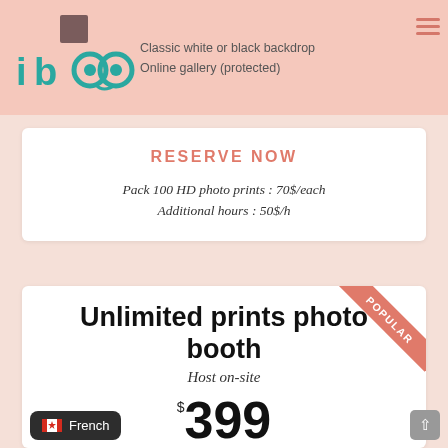[Figure (logo): iboo photo booth logo with teal owl-like icon]
Classic white or black backdrop
Online gallery (protected)
RESERVE NOW
Pack 100 HD photo prints : 70$/each
Additional hours : 50$/h
Unlimited prints photo booth
Host on-site
$ 399